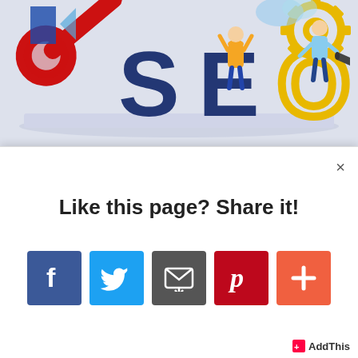[Figure (illustration): SEO illustration showing cartoon people working around large blue 'SEO' letters with gears, a red wrench/magnifying glass, on a light grey-blue background]
×
Like this page? Share it!
[Figure (infographic): Row of 5 social share icon buttons: Facebook (blue with f), Twitter (blue with bird), Email (grey with envelope), Pinterest (red with P), Add more (orange-red with +)]
AddThis